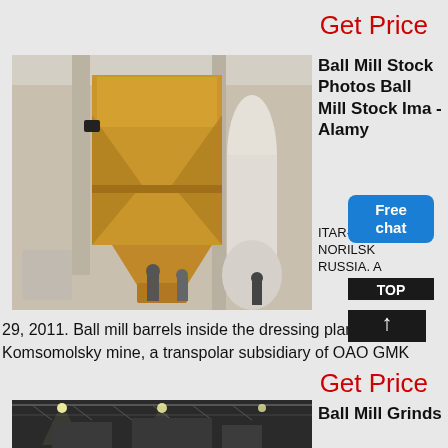Get Price
[Figure (photo): Interior of an industrial dressing plant showing large yellow/gold metal hopper/bin structure with triangular support frames and white industrial pipe/chute equipment. Workers visible at bottom.]
Ball Mill Stock Photos Ball Mill Stock Images - Alamy
ITAR-TASS NORILSK RUSSIA.
29, 2011. Ball mill barrels inside the dressing plant at the Komsomolsky mine, a transpolar subsidiary of OAO GMK
Get Price
[Figure (photo): Interior of an industrial facility at night with overhead lighting visible and structural steel framework/trusses, large industrial equipment.]
Ball Mill Grinds